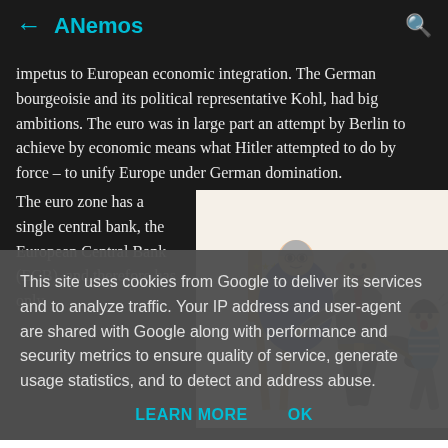ANemos
impetus to European economic integration. The German bourgeoisie and its political representative Kohl, had big ambitions. The euro was in large part an attempt by Berlin to achieve by economic means what Hitler attempted to do by force – to unify Europe under German domination.
The euro zone has a single central bank, the European Central Bank (ECB), and therefore has only
[Figure (illustration): Political cartoon showing figures in an exaggerated scene relating to European political/economic power dynamics.]
This site uses cookies from Google to deliver its services and to analyze traffic. Your IP address and user-agent are shared with Google along with performance and security metrics to ensure quality of service, generate usage statistics, and to detect and address abuse.
LEARN MORE    OK